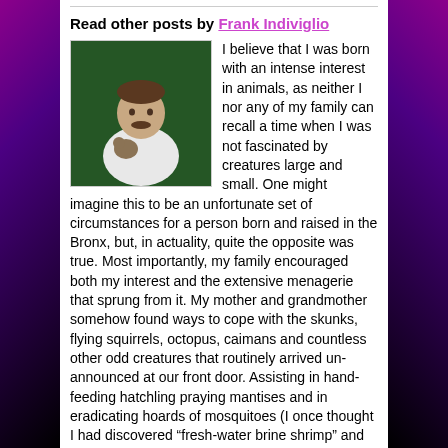Read other posts by Frank Indiviglio
[Figure (photo): Photo of Frank Indiviglio, a man holding a small animal, standing in front of a green background]
I believe that I was born with an intense interest in animals, as neither I nor any of my family can recall a time when I was not fascinated by creatures large and small. One might imagine this to be an unfortunate set of circumstances for a person born and raised in the Bronx, but, in actuality, quite the opposite was true. Most importantly, my family encouraged both my interest and the extensive menagerie that sprung from it. My mother and grandmother somehow found ways to cope with the skunks, flying squirrels, octopus, caimans and countless other odd creatures that routinely arrived un-announced at our front door. Assisting in hand-feeding hatchling praying mantises and in eradicating hoards of mosquitoes (I once thought I had discovered “fresh-water brine shrimp” and stocked my tanks with thousands of mosquito larvae!) became second nature to them. My mother went on to become a serious naturalist, and has helped thousands learn about wildlife in her 16 years as a volunteer at the Bronx Zoo. My grandfather actively conspired in my zoo-buildings